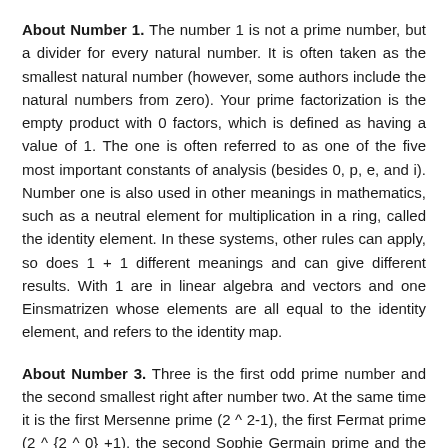About Number 1. The number 1 is not a prime number, but a divider for every natural number. It is often taken as the smallest natural number (however, some authors include the natural numbers from zero). Your prime factorization is the empty product with 0 factors, which is defined as having a value of 1. The one is often referred to as one of the five most important constants of analysis (besides 0, p, e, and i). Number one is also used in other meanings in mathematics, such as a neutral element for multiplication in a ring, called the identity element. In these systems, other rules can apply, so does 1 + 1 different meanings and can give different results. With 1 are in linear algebra and vectors and one Einsmatrizen whose elements are all equal to the identity element, and refers to the identity map.
About Number 3. Three is the first odd prime number and the second smallest right after number two. At the same time it is the first Mersenne prime (2 ^ 2-1), the first Fermat prime (2 ^ {2 ^ 0} +1), the second Sophie Germain prime and the second Mersenne prime exponent. It is the fourth number of the Fibonacci sequence and the second one that is unique. The triangle is the simplest geometric figure in the plane. With